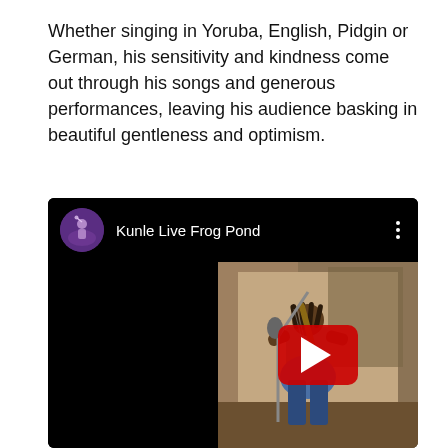Whether singing in Yoruba, English, Pidgin or German, his sensitivity and kindness come out through his songs and generous performances, leaving his audience basking in beautiful gentleness and optimism.
[Figure (screenshot): YouTube video embed showing 'Kunle Live Frog Pond' with a channel avatar (performer on stage with purple lighting), video title text, three-dot menu icon, and a video thumbnail showing a musician playing guitar with a red YouTube play button overlay.]